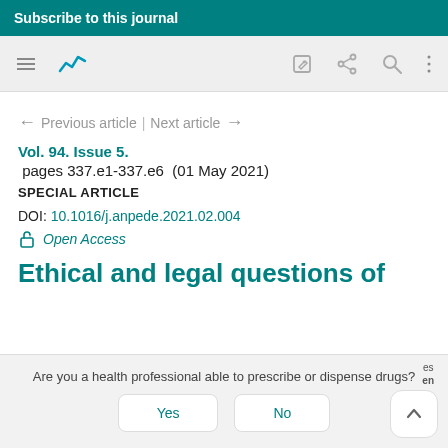Subscribe to this journal
[Figure (screenshot): Mobile app toolbar with hamburger menu, chart icon (teal), edit icon, share icon, search icon, and more options icon]
← Previous article | Next article →
Vol. 94. Issue 5.
pages 337.e1-337.e6  (01 May 2021)
SPECIAL ARTICLE
DOI: 10.1016/j.anpede.2021.02.004
Open Access
Ethical and legal questions of
Are you a health professional able to prescribe or dispense drugs?
Yes   No